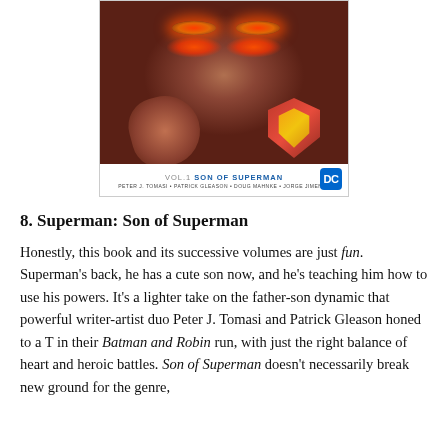[Figure (illustration): Comic book cover for Superman Vol. 1: Son of Superman, showing Superman with glowing red eyes pointing at the viewer, wearing his classic cape and S-shield, with credits for Peter J. Tomasi, Patrick Gleason, Doug Mahnke, Jorge Jimenez, and the DC logo.]
8. Superman: Son of Superman
Honestly, this book and its successive volumes are just fun. Superman's back, he has a cute son now, and he's teaching him how to use his powers. It's a lighter take on the father-son dynamic that powerful writer-artist duo Peter J. Tomasi and Patrick Gleason honed to a T in their Batman and Robin run, with just the right balance of heart and heroic battles. Son of Superman doesn't necessarily break new ground for the genre,